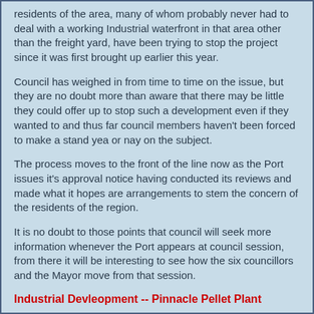residents of the area, many of whom probably never had to deal with a working Industrial waterfront in that area other than the freight yard, have been trying to stop the project since it was first brought up earlier this year.
Council has weighed in from time to time on the issue, but they are no doubt more than aware that there may be little they could offer up to stop such a development even if they wanted to and thus far council members haven't been forced to make a stand yea or nay on the subject.
The process moves to the front of the line now as the Port issues it's approval notice having conducted its reviews and made what it hopes are arrangements to stem the concern of the residents of the region.
It is no doubt to those points that council will seek more information whenever the Port appears at council session, from there it will be interesting to see how the six councillors and the Mayor move from that session.
Industrial Devleopment -- Pinnacle Pellet Plant